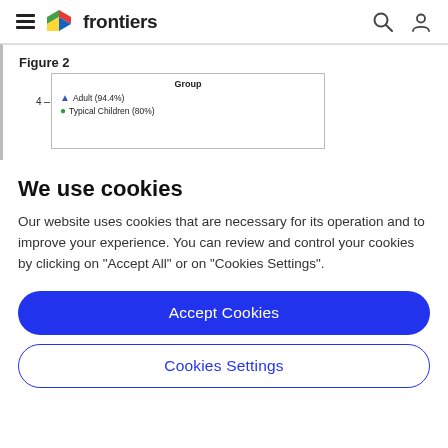frontiers
Figure 2
[Figure (other): Partially visible scatter or line chart with legend showing Group: Adult (94.4%) with blue triangle marker and Typical Children (80%) with green circle marker. Y-axis label shows 4. Chart content is cropped.]
We use cookies
Our website uses cookies that are necessary for its operation and to improve your experience. You can review and control your cookies by clicking on "Accept All" or on "Cookies Settings".
Accept Cookies
Cookies Settings